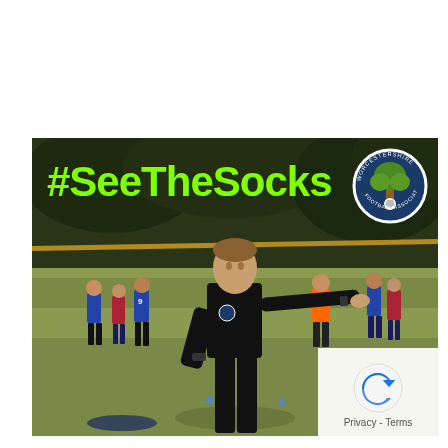[Figure (photo): A youth football match scene with a young referee in a black shirt extending his arm to signal, with children in blue and red football kits playing in the background on a grass pitch. The hashtag #SeeTheSocks appears in bright green text overlay, and the Worcestershire Football Association circular logo is in the top-right corner of the image. A reCAPTCHA/Google privacy overlay appears in the bottom-right corner with 'Privacy - Terms' text.]